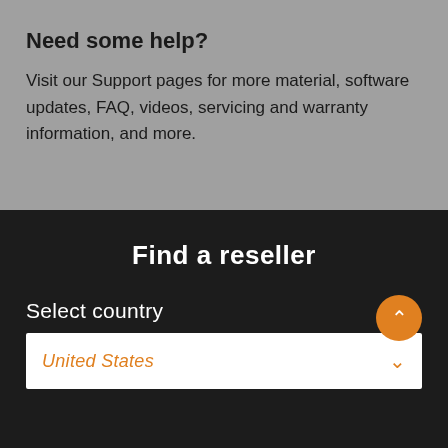Need some help?
Visit our Support pages for more material, software updates, FAQ, videos, servicing and warranty information, and more.
Find a reseller
Select country
United States